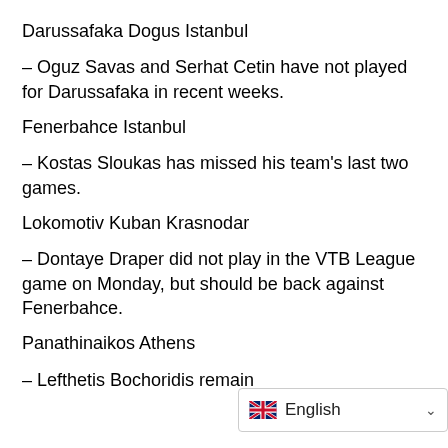Darussafaka Dogus Istanbul
– Oguz Savas and Serhat Cetin have not played for Darussafaka in recent weeks.
Fenerbahce Istanbul
– Kostas Sloukas has missed his team's last two games.
Lokomotiv Kuban Krasnodar
– Dontaye Draper did not play in the VTB League game on Monday, but should be back against Fenerbahce.
Panathinaikos Athens
– Lefthetis Bochoridis remain